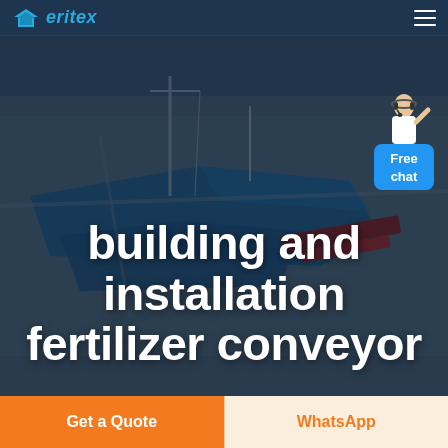eritex
[Figure (photo): Aerial view of an industrial facility with blue warehouse rooftops, construction cranes, and surrounding flat terrain. The image is darkened with an overlay. A customer service representative figure and a blue 'Free chat' button widget appear in the top-right corner.]
building and installation fertilizer conveyor
Get a Quote
WhatsApp